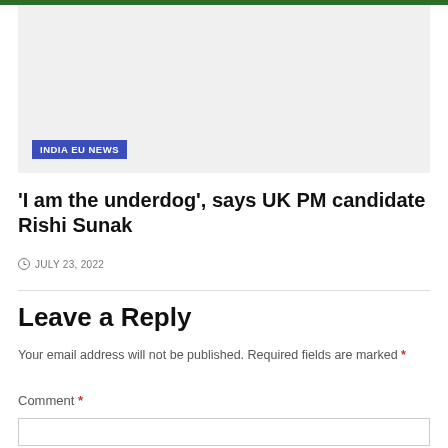[Figure (photo): Gray placeholder image area with 'INDIA EU NEWS' badge in blue]
'I am the underdog', says UK PM candidate Rishi Sunak
JULY 23, 2022
Leave a Reply
Your email address will not be published. Required fields are marked *
Comment *